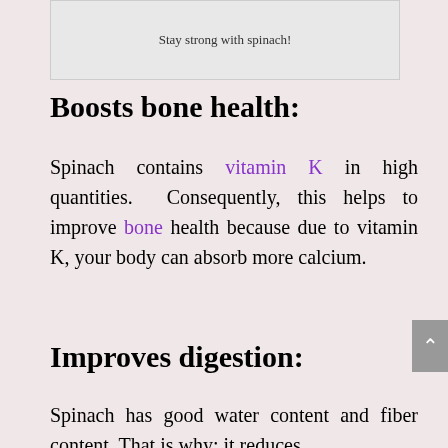[Figure (other): Gray image placeholder box with caption 'Stay strong with spinach!' centered inside]
Boosts bone health:
Spinach contains vitamin K in high quantities. Consequently, this helps to improve bone health because due to vitamin K, your body can absorb more calcium.
Improves digestion:
Spinach has good water content and fiber content. That is why; it reduces